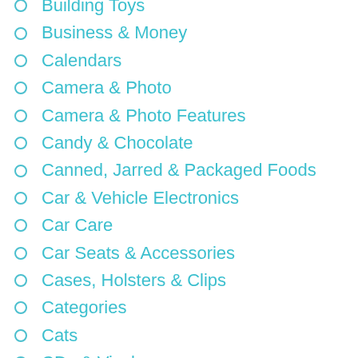Building Toys
Business & Money
Calendars
Camera & Photo
Camera & Photo Features
Candy & Chocolate
Canned, Jarred & Packaged Foods
Car & Vehicle Electronics
Car Care
Car Seats & Accessories
Cases, Holsters & Clips
Categories
Cats
CDs & Vinyl
Cell Phones